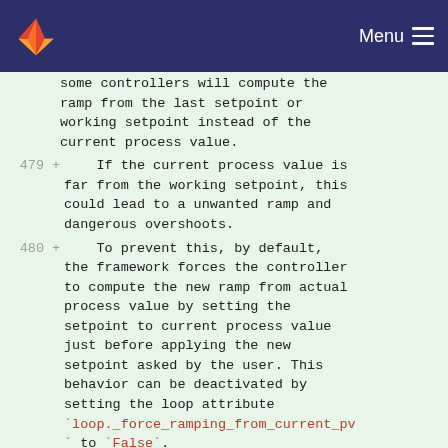Menu
some controllers will compute the ramp from the last setpoint or working setpoint instead of the current process value.
479 +     If the current process value is far from the working setpoint, this could lead to a unwanted ramp and dangerous overshoots.
480 +     To prevent this, by default, the framework forces the controller to compute the new ramp from actual process value by setting the setpoint to current process value just before applying the new setpoint asked by the user. This behavior can be deactivated by setting the loop attribute `loop._force_ramping_from_current_pv` to `False`.
481 +     This can be done in the loop